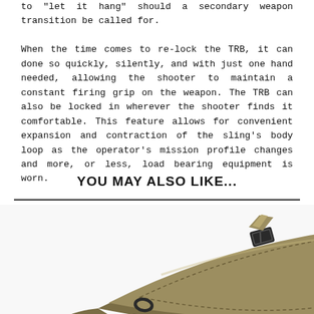to "let it hang" should a secondary weapon transition be called for.

When the time comes to re-lock the TRB, it can done so quickly, silently, and with just one hand needed, allowing the shooter to maintain a constant firing grip on the weapon. The TRB can also be locked in wherever the shooter finds it comfortable. This feature allows for convenient expansion and contraction of the sling's body loop as the operator's mission profile changes and more, or less, load bearing equipment is worn.
YOU MAY ALSO LIKE...
[Figure (photo): A tan/olive colored tactical weapon sling with padded body, adjustment buckles, and hardware shown on a white background.]